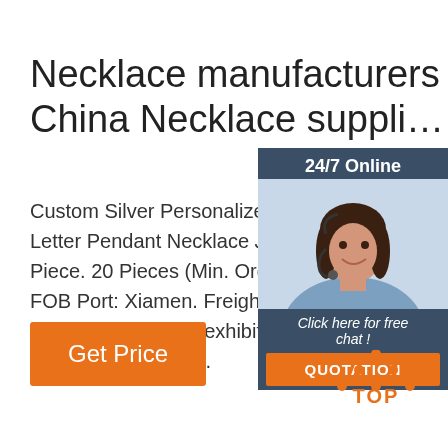Necklace manufacturers China Necklace suppli…
Custom Silver Personalized Name Chol Letter Pendant Necklace Jewelry. US$ ( Piece. 20 Pieces (Min. Order) Lead Tim FOB Port: Xiamen. Freight Cost Availab Now Compare. We exhibited at 14 Glob trade shows View …
[Figure (other): Chat widget with woman wearing headset, 24/7 Online header, Click here for free chat text, and QUOTATION button]
Get Price
[Figure (logo): TOP badge with orange dots and orange TOP text]